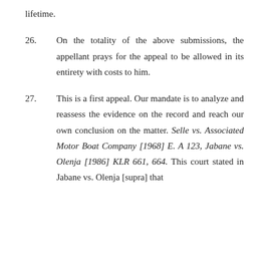lifetime.
26. On the totality of the above submissions, the appellant prays for the appeal to be allowed in its entirety with costs to him.
27. This is a first appeal. Our mandate is to analyze and reassess the evidence on the record and reach our own conclusion on the matter. Selle vs. Associated Motor Boat Company [1968] E. A 123, Jabane vs. Olenja [1986] KLR 661, 664. This court stated in Jabane vs. Olenja [supra] that